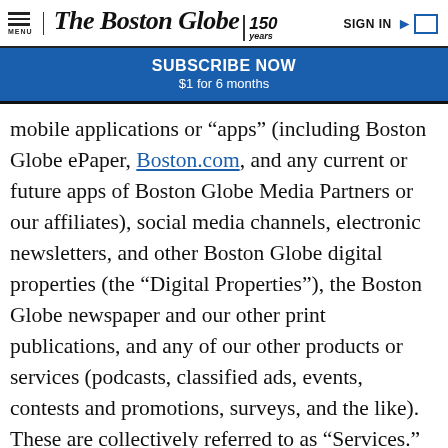MENU | The Boston Globe 150 years | SIGN IN
SUBSCRIBE NOW
$1 for 6 months
mobile applications or “apps” (including Boston Globe ePaper, Boston.com, and any current or future apps of Boston Globe Media Partners or our affiliates), social media channels, electronic newsletters, and other Boston Globe digital properties (the “Digital Properties”), the Boston Globe newspaper and our other print publications, and any of our other products or services (podcasts, classified ads, events, contests and promotions, surveys, and the like). These are collectively referred to as “Services.”
“Personal Information” is information that can be used to